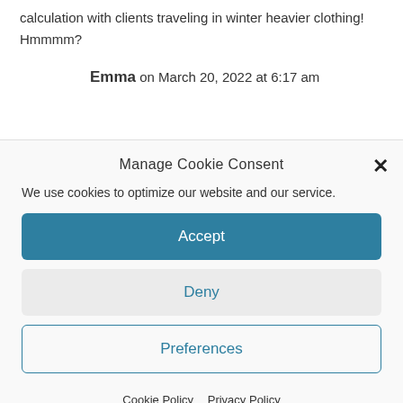calculation with clients traveling in winter heavier clothing! Hmmmm?
Emma on March 20, 2022 at 6:17 am
Manage Cookie Consent
We use cookies to optimize our website and our service.
Accept
Deny
Preferences
Cookie Policy   Privacy Policy